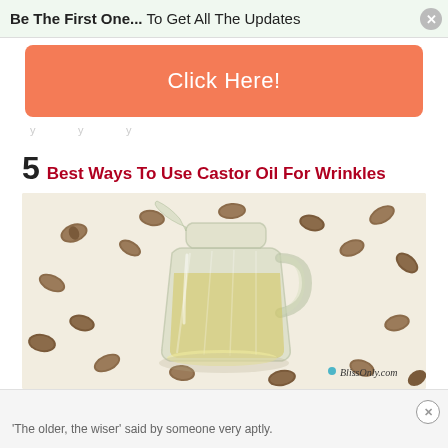Be The First One... To Get All The Updates
Click Here!
y ... y ... y ...
5 Best Ways To Use Castor Oil For Wrinkles
[Figure (photo): A glass pitcher/jug filled with yellow castor oil surrounded by castor beans/seeds scattered on a white background. Watermark reads BlissOnly.com]
'The older, the wiser' said by someone very aptly.